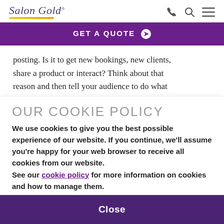Salon Gold®
GET A QUOTE ➔
posting. Is it to get new bookings, new clients, share a product or interact? Think about that reason and then tell your audience to do what
OUR COOKIE POLICY
We use cookies to give you the best possible experience of our website. If you continue, we'll assume you're happy for your web browser to receive all cookies from our website.
See our cookie policy for more information on cookies and how to manage them.
Close